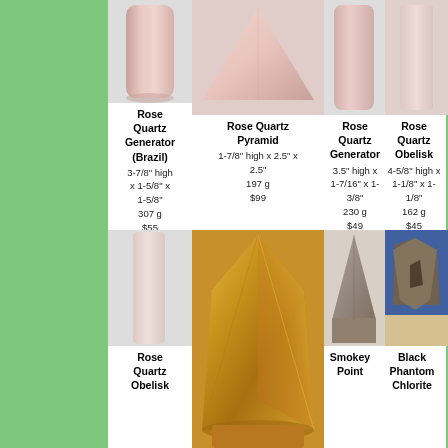[Figure (photo): Rose Quartz Generator (Brazil) - pink cylindrical crystal]
Rose Quartz Generator (Brazil)
3-7/8" high x 1-5/8" x 1-5/8"
307 g
$55
[Figure (photo): Rose Quartz Pyramid - flat pink quartz pyramid shape]
Rose Quartz Pyramid
1-7/8" high x 2.5" x 2.5"
197 g
$99
[Figure (photo): Rose Quartz Generator - pink cylindrical crystal tower]
Rose Quartz Generator
3.5" high x 1-7/16" x 1-3/8"
230 g
$49
[Figure (photo): Rose Quartz Obelisk - tall narrow pink crystal]
Rose Quartz Obelisk
4-5/8" high x 1-1/8" x 1-1/8"
162 g
$45
[Figure (photo): Rose Quartz Obelisk - pale pink slender crystal]
Rose Quartz Obelisk
[Figure (photo): Large golden/orange citrine crystal point]
[Figure (photo): Smokey Point - dark smokey quartz crystal point]
Smokey Point
[Figure (photo): Black Phantom Chlorite crystal specimen on blue background]
Black Phantom Chlorite